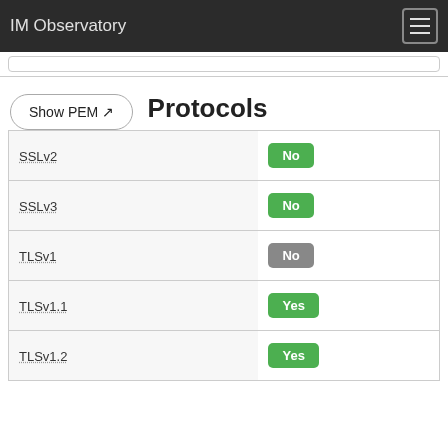IM Observatory
Show PEM
Protocols
| Protocol | Status |
| --- | --- |
| SSLv2 | No |
| SSLv3 | No |
| TLSv1 | No |
| TLSv1.1 | Yes |
| TLSv1.2 | Yes |